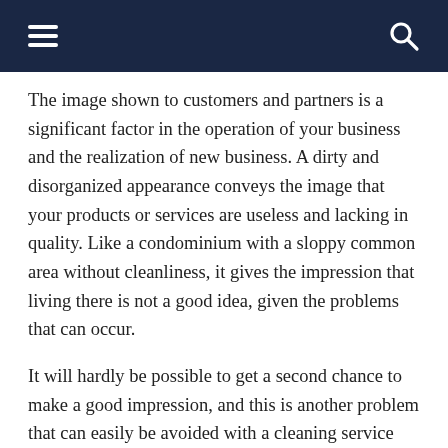≡  🔍
The image shown to customers and partners is a significant factor in the operation of your business and the realization of new business. A dirty and disorganized appearance conveys the image that your products or services are useless and lacking in quality. Like a condominium with a sloppy common area without cleanliness, it gives the impression that living there is not a good idea, given the problems that can occur.
It will hardly be possible to get a second chance to make a good impression, and this is another problem that can easily be avoided with a cleaning service provider. These are problems that any type of project will be subject to if it does not clean and preserve the environment. It is necessary to understand that dirt and disorganization reflect